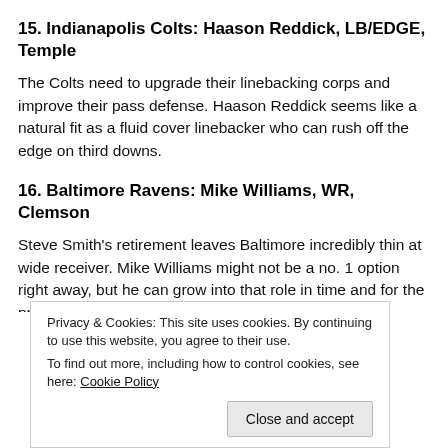15. Indianapolis Colts: Haason Reddick, LB/EDGE, Temple
The Colts need to upgrade their linebacking corps and improve their pass defense. Haason Reddick seems like a natural fit as a fluid cover linebacker who can rush off the edge on third downs.
16. Baltimore Ravens: Mike Williams, WR, Clemson
Steve Smith’s retirement leaves Baltimore incredibly thin at wide receiver. Mike Williams might not be a no. 1 option right away, but he can grow into that role in time and for the present he’ll provide Joe Flacco with a big target to compliment the
Privacy & Cookies: This site uses cookies. By continuing to use this website, you agree to their use.
To find out more, including how to control cookies, see here: Cookie Policy